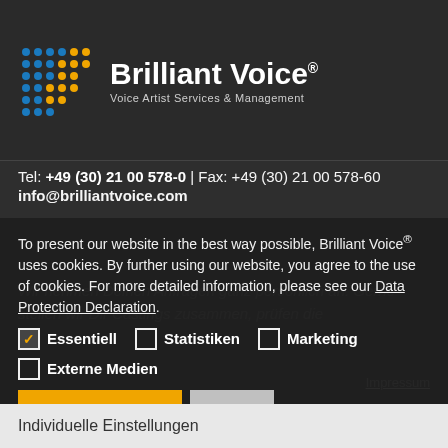[Figure (logo): Brilliant Voice logo with dot-grid icon and text 'Brilliant Voice® Voice Artist Services & Management']
Tel: +49 (30) 21 00 578-0 | Fax: +49 (30) 21 00 578-60
info@brilliantvoice.com
To present our website in the best way possible, Brilliant Voice® uses cookies. By further using our website, you agree to the use of cookies. For more detailed information, please see our Data Protection Declaration.
☑ Essentiell  ☐ Statistiken  ☐ Marketing
☐ Externe Medien
Alle Akzeptieren  Save
Individuelle Einstellungen